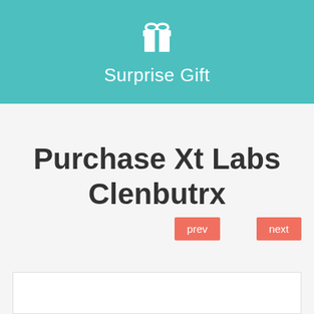[Figure (illustration): Teal/turquoise header banner with a white gift box icon and the text 'Surprise Gift' in white below it]
Purchase Xt Labs Clenbutrx
prev
next